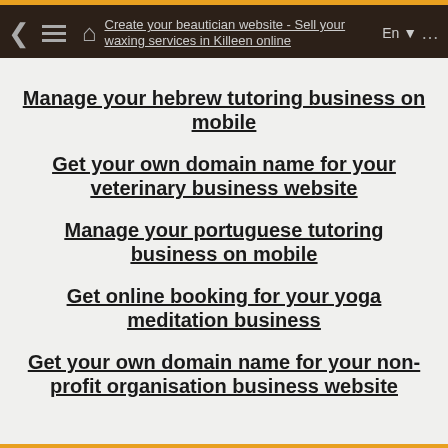Create your beautician website - Sell your waxing services in Killeen online
Manage your hebrew tutoring business on mobile
Get your own domain name for your veterinary business website
Manage your portuguese tutoring business on mobile
Get online booking for your yoga meditation business
Get your own domain name for your non-profit organisation business website